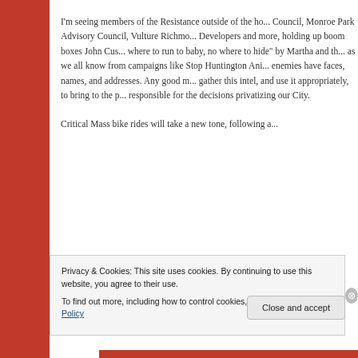I'm seeing members of the Resistance outside of the ho... Council, Monroe Park Advisory Council, Vulture Richmo... Developers and more, holding up boom boxes John Cus... where to run to baby, no where to hide" by Martha and th... as we all know from campaigns like Stop Huntington Ani... enemies have faces, names, and addresses. Any good m... gather this intel, and use it appropriately, to bring to the p... responsible for the decisions privatizing our City.
Critical Mass bike rides will take a new tone, following a...
Privacy & Cookies: This site uses cookies. By continuing to use this website, you agree to their use.
To find out more, including how to control cookies, see here: Cookie Policy